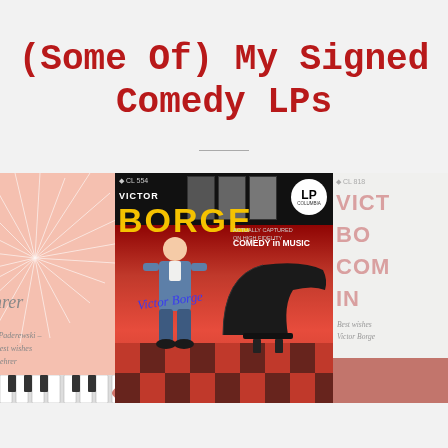(Some Of) My Signed Comedy LPs
[Figure (photo): Three overlapping vinyl LP album covers. Center: Victor Borge 'Comedy in Music' Columbia Records signed LP featuring performer sitting at a grand piano on a red checkered stage. Left: partial view of another signed LP (Tom Lehrer) with feathery/starburst design and handwritten inscription. Right: partial view of another Victor Borge LP.]